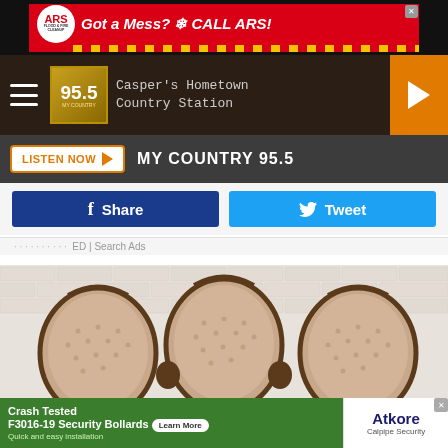[Figure (screenshot): ARS Flood & Fire Cleanup advertisement banner: red background with 'Got a Mess? ❄ CALL ARS!' text, yellow dot border at bottom]
[Figure (screenshot): Radio station navigation bar for My Country 95.5 'Casper's Hometown Country Station' with hamburger menu, station logo, and orange play button]
[Figure (screenshot): Dark bar with 'LISTEN NOW' orange button and 'MY COUNTRY 95.5' text]
[Figure (screenshot): Social sharing buttons: blue Facebook Share button and light blue Twitter Tweet button]
ED | Search Ads
[Figure (photo): Three ornate Victorian-style tufted chairs with cream/beige upholstery against a white brick wall background]
[Figure (screenshot): Bottom advertisement: green section for 'Crash Tested F3016-19 Security Bollards - Quick and easy installation' with Learn More button, and Atkore Calpipe Security logo on white background]